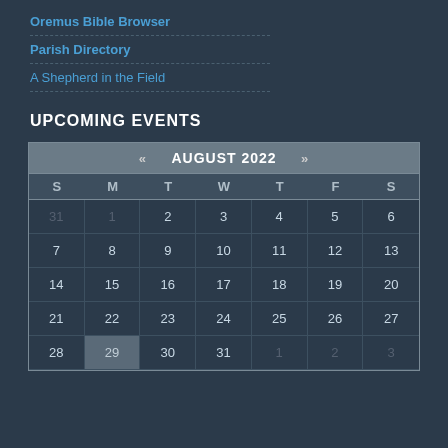Oremus Bible Browser
Parish Directory
A Shepherd in the Field
UPCOMING EVENTS
| S | M | T | W | T | F | S |
| --- | --- | --- | --- | --- | --- | --- |
| 31 | 1 | 2 | 3 | 4 | 5 | 6 |
| 7 | 8 | 9 | 10 | 11 | 12 | 13 |
| 14 | 15 | 16 | 17 | 18 | 19 | 20 |
| 21 | 22 | 23 | 24 | 25 | 26 | 27 |
| 28 | 29 | 30 | 31 | 1 | 2 | 3 |